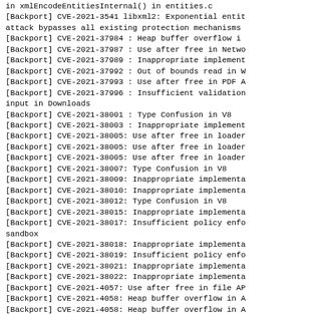in xmlEncodeEntitiesInternal() in entities.c
[Backport] CVE-2021-3541 libxml2: Exponential entit
attack bypasses all existing protection mechanisms
[Backport] CVE-2021-37984 : Heap buffer overflow i
[Backport] CVE-2021-37987 : Use after free in Netwo
[Backport] CVE-2021-37989 : Inappropriate implement
[Backport] CVE-2021-37992 : Out of bounds read in W
[Backport] CVE-2021-37993 : Use after free in PDF A
[Backport] CVE-2021-37996 : Insufficient validation
input in Downloads
[Backport] CVE-2021-38001 : Type Confusion in V8
[Backport] CVE-2021-38003 : Inappropriate implement
[Backport] CVE-2021-38005: Use after free in loader
[Backport] CVE-2021-38005: Use after free in loader
[Backport] CVE-2021-38005: Use after free in loader
[Backport] CVE-2021-38007: Type Confusion in V8
[Backport] CVE-2021-38009: Inappropriate implementa
[Backport] CVE-2021-38010: Inappropriate implementa
[Backport] CVE-2021-38012: Type Confusion in V8
[Backport] CVE-2021-38015: Inappropriate implementa
[Backport] CVE-2021-38017: Insufficient policy enfo
sandbox
[Backport] CVE-2021-38018: Inappropriate implementa
[Backport] CVE-2021-38019: Insufficient policy enfo
[Backport] CVE-2021-38021: Inappropriate implementa
[Backport] CVE-2021-38022: Inappropriate implementa
[Backport] CVE-2021-4057: Use after free in file AP
[Backport] CVE-2021-4058: Heap buffer overflow in A
[Backport] CVE-2021-4058: Heap buffer overflow in A
[Backport] CVE-2021-4059: Insufficient data valida